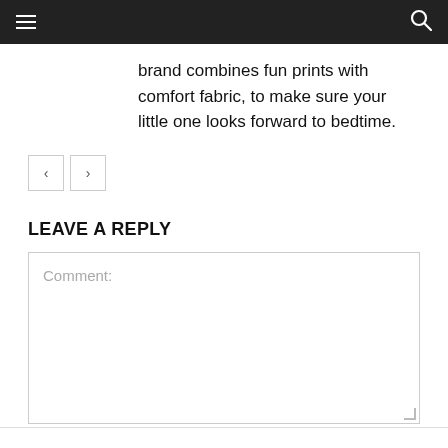Navigation bar with hamburger menu and search icon
brand combines fun prints with comfort fabric, to make sure your little one looks forward to bedtime.
LEAVE A REPLY